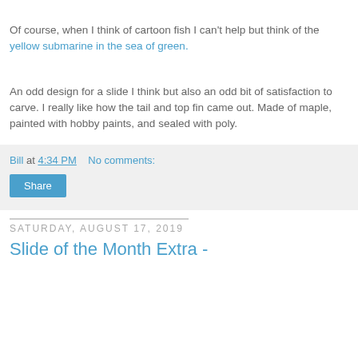Of course, when I think of cartoon fish I can't help but think of the yellow submarine in the sea of green.
An odd design for a slide I think but also an odd bit of satisfaction to carve. I really like how the tail and top fin came out. Made of maple, painted with hobby paints, and sealed with poly.
Bill at 4:34 PM   No comments:
Share
Saturday, August 17, 2019
Slide of the Month Extra -